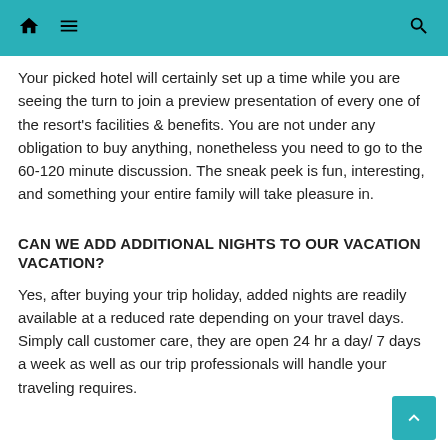Navigation bar with home, menu, and search icons
Your picked hotel will certainly set up a time while you are seeing the turn to join a preview presentation of every one of the resort's facilities & benefits. You are not under any obligation to buy anything, nonetheless you need to go to the 60-120 minute discussion. The sneak peek is fun, interesting, and something your entire family will take pleasure in.
CAN WE ADD ADDITIONAL NIGHTS TO OUR VACATION VACATION?
Yes, after buying your trip holiday, added nights are readily available at a reduced rate depending on your travel days. Simply call customer care, they are open 24 hr a day/ 7 days a week as well as our trip professionals will handle your traveling requires.